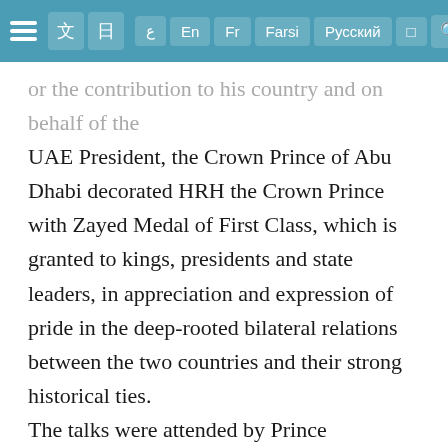ع En Fr Farsi Русский □ 🔍
or the contribution to his country and on behalf of the UAE President, the Crown Prince of Abu Dhabi decorated HRH the Crown Prince with Zayed Medal of First Class, which is granted to kings, presidents and state leaders, in appreciation and expression of pride in the deep-rooted bilateral relations between the two countries and their strong historical ties. The talks were attended by Prince Abdulaziz bin Salman bin Abdulaziz, Minister of Energy; Prince Turki bin Mohammed bin Fahd bin Abdulaziz, Minister of State and Cabinet's Member; Prince Abdulaziz bin Turki Al-Faisal, Minister of Sports; Prince Abdulaziz bin Saud